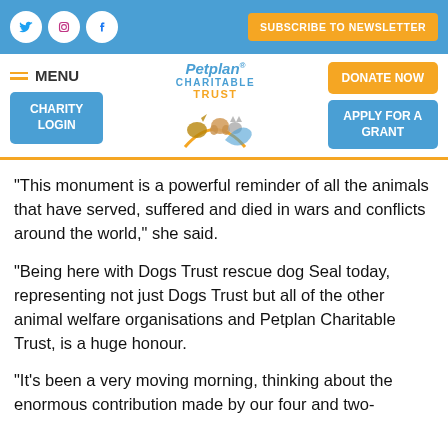[Figure (screenshot): Website header with social media icons (Twitter, Instagram, Facebook) and Subscribe to Newsletter button on blue background]
[Figure (logo): Petplan Charitable Trust logo with animals (horse, dog, cat) and navigation buttons: MENU, CHARITY LOGIN, DONATE NOW, APPLY FOR A GRANT]
“This monument is a powerful reminder of all the animals that have served, suffered and died in wars and conflicts around the world,” she said.
“Being here with Dogs Trust rescue dog Seal today, representing not just Dogs Trust but all of the other animal welfare organisations and Petplan Charitable Trust, is a huge honour.
“It’s been a very moving morning, thinking about the enormous contribution made by our four and two-